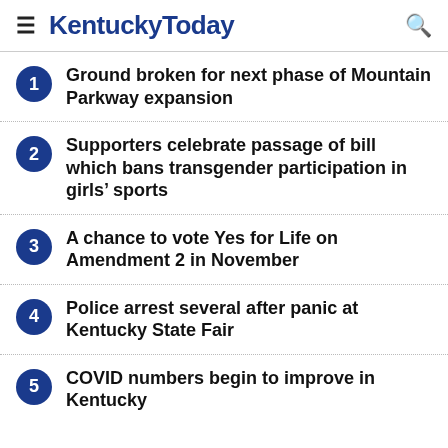KentuckyToday
1. Ground broken for next phase of Mountain Parkway expansion
2. Supporters celebrate passage of bill which bans transgender participation in girls' sports
3. A chance to vote Yes for Life on Amendment 2 in November
4. Police arrest several after panic at Kentucky State Fair
5. COVID numbers begin to improve in Kentucky